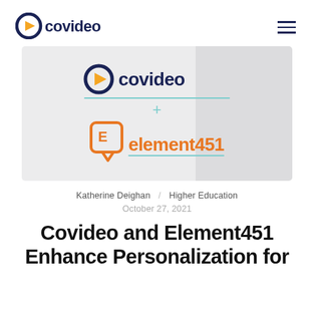[Figure (logo): Covideo logo in header — circular icon with play button and 'covideo' wordmark in dark navy]
[Figure (illustration): Hero image showing Covideo logo above a teal divider line, a teal plus sign, and the Element451 logo below, on a light grey background with a darker grey panel on the right]
Katherine Deighan / Higher Education
October 27, 2021
Covideo and Element451 Enhance Personalization for